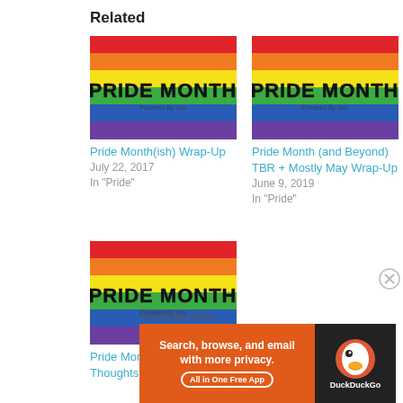Related
[Figure (illustration): Pride Month rainbow flag thumbnail for card 1]
Pride Month(ish) Wrap-Up
July 22, 2017
In "Pride"
[Figure (illustration): Pride Month rainbow flag thumbnail for card 2]
Pride Month (and Beyond) TBR + Mostly May Wrap-Up
June 9, 2019
In "Pride"
[Figure (illustration): Pride Month rainbow flag thumbnail for card 3]
Pride Month Plans and Thoughts (TBR
Advertisements
[Figure (screenshot): DuckDuckGo advertisement banner: Search, browse, and email with more privacy. All in One Free App.]